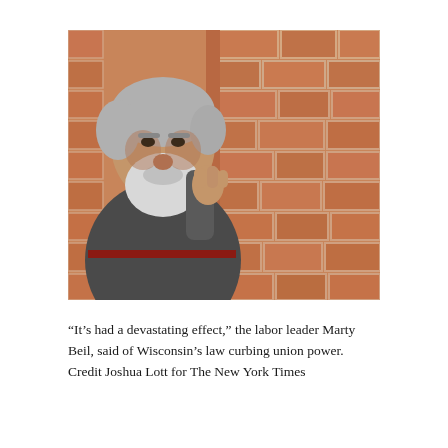[Figure (photo): An older heavyset man with gray hair and a white beard leans against a brick wall, resting his hand on the wall. He is wearing a dark gray t-shirt. The background shows a close-up of a red brick wall.]
“It’s had a devastating effect,” the labor leader Marty Beil, said of Wisconsin’s law curbing union power. Credit Joshua Lott for The New York Times